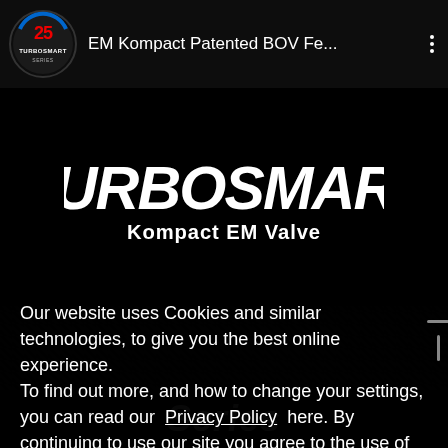EM Kompact Patented BOV Fe...
[Figure (logo): Turbosmart 25 series circular logo in top left corner]
[Figure (logo): TURBOSMART Kompact EM Valve logo in white on black background]
Our website uses Cookies and similar technologies, to give you the best online experience.
To find out more, and how to change your settings, you can read our Privacy Policy here. By continuing to use our site you agree to the use of cookies.
I Accept
Series